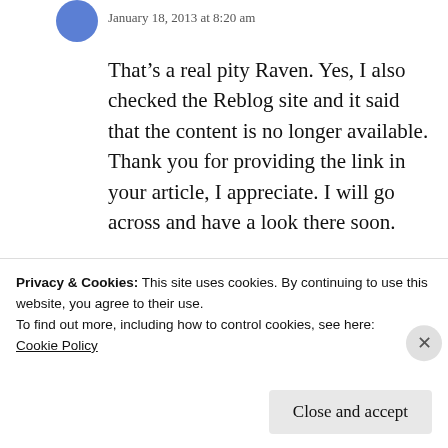January 18, 2013 at 8:20 am
That’s a real pity Raven. Yes, I also checked the Reblog site and it said that the content is no longer available. Thank you for providing the link in your article, I appreciate. I will go across and have a look there soon.
Cheers
Shakti
Privacy & Cookies: This site uses cookies. By continuing to use this website, you agree to their use.
To find out more, including how to control cookies, see here:
Cookie Policy